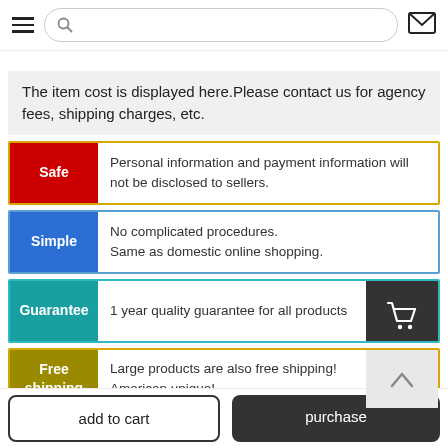Navigation bar with hamburger menu, search bar, and mail icon
The item cost is displayed here.Please contact us for agency fees, shipping charges, etc.
Safe — Personal information and payment information will not be disclosed to sellers.
Simple — No complicated procedures. Same as domestic online shopping.
Guarantee — 1 year quality guarantee for all products
Free shipping — Large products are also free shipping! American unique!
add to cart
purchase